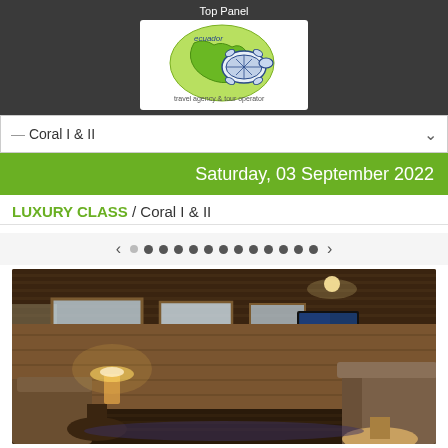Top Panel
[Figure (logo): Ecuador travel agency & tour operator logo with turtle and map of Galapagos]
— Coral I & II
Saturday, 03 September 2022
LUXURY CLASS / Coral I & II
[Figure (photo): Interior lounge of Coral I & II luxury cruise ship showing wooden paneling, sofas, TV, lamp, and round table]